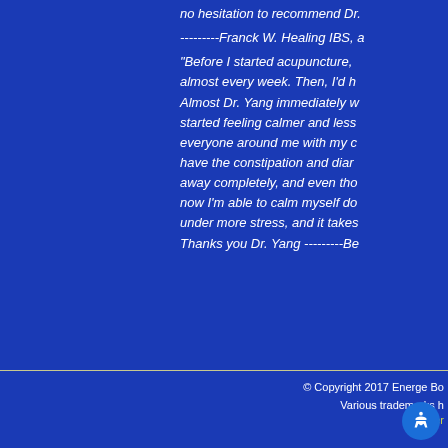no hesitation to recommend Dr.
---------Franck W. Healing IBS, a
"Before I started acupuncture, almost every week. Then, I'd h Almost Dr. Yang immediately w started feeling calmer and less everyone around me with my c have the constipation and diar away completely, and even tho now I'm able to calm myself do under more stress, and it takes Thanks you Dr. Yang ---------Be
© Copyright 2017 Energe Bo Various trademarks h Powered